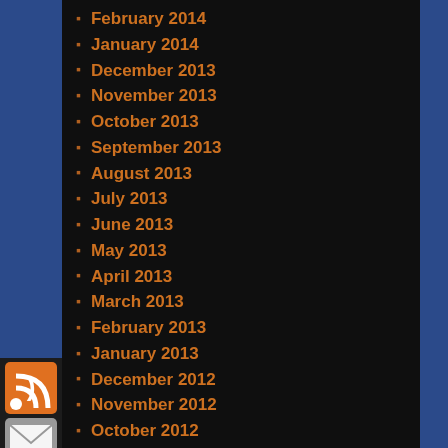February 2014
January 2014
December 2013
November 2013
October 2013
September 2013
August 2013
July 2013
June 2013
May 2013
April 2013
March 2013
February 2013
January 2013
December 2012
November 2012
October 2012
September 2012
August 2012
July 2012
[Figure (infographic): Social media sharing buttons: RSS (orange), Email (gray), Facebook (blue), Google+ (red), Twitter (blue bird), Pinterest (red)]